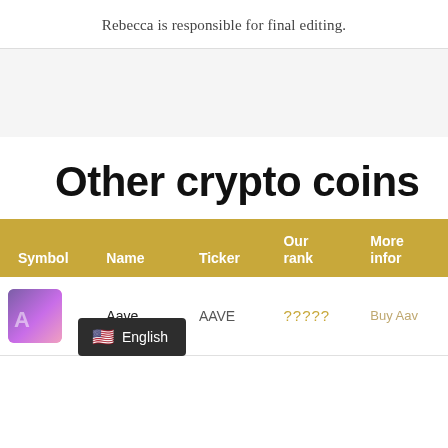Rebecca is responsible for final editing.
Other crypto coins
| Symbol | Name | Ticker | Our rank | More infor |
| --- | --- | --- | --- | --- |
| [coin image] | Aave | AAVE | ????? | Buy Aav |